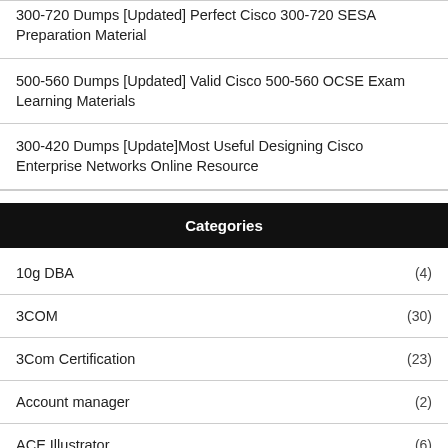300-720 Dumps [Updated] Perfect Cisco 300-720 SESA Preparation Material
500-560 Dumps [Updated] Valid Cisco 500-560 OCSE Exam Learning Materials
300-420 Dumps [Update]Most Useful Designing Cisco Enterprise Networks Online Resource
Categories
10g DBA (4)
3COM (30)
3Com Certification (23)
Account manager (2)
ACE Illustrator (6)